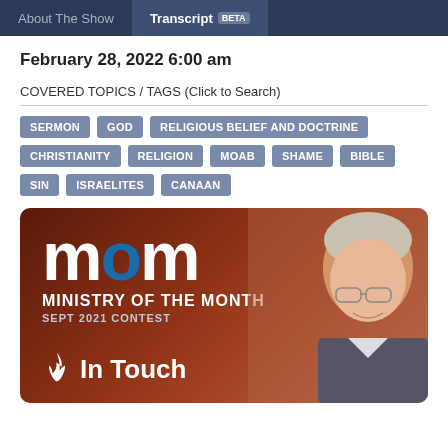About The Show | Transcript BETA
February 28, 2022 6:00 am
COVERED TOPICS / TAGS (Click to Search)
SERMON
GOD
RELIGIOUS BELIEF AND DOCTRINE
CHRISTIANITY
RELIGION
MOAB
SHAME
BIBLE
SIN
ISRAELITES
CANAAN
[Figure (illustration): Ministry of the Month banner with 'mom' logo (blue O), 'MINISTRY OF THE MONTH SEPT 2021 CONTEST', In Touch Ministries logo with flame icon, and photo of elderly man with glasses on brown/maroon background]